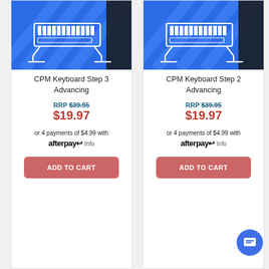[Figure (illustration): Blue product cover image for CPM Keyboard Step 3 Advancing showing keyboard illustration]
CPM Keyboard Step 3 Advancing
RRP $39.95 $19.97
or 4 payments of $4.99 with afterpay Info
ADD TO CART
[Figure (illustration): Blue product cover image for CPM Keyboard Step 2 Advancing showing keyboard illustration]
CPM Keyboard Step 2 Advancing
RRP $39.95 $19.97
or 4 payments of $4.99 with afterpay Info
ADD TO CART